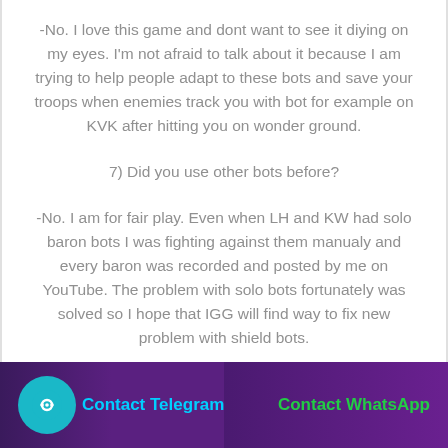-No. I love this game and dont want to see it diying on my eyes. I'm not afraid to talk about it because I am trying to help people adapt to these bots and save your troops when enemies track you with bot for example on KVK after hitting you on wonder ground.
7) Did you use other bots before?
-No. I am for fair play. Even when LH and KW had solo baron bots I was fighting against them manualy and every baron was recorded and posted by me on YouTube. The problem with solo bots fortunately was solved so I hope that IGG will find way to fix new problem with shield bots.
Contact Telegram   Contact WhatsApp